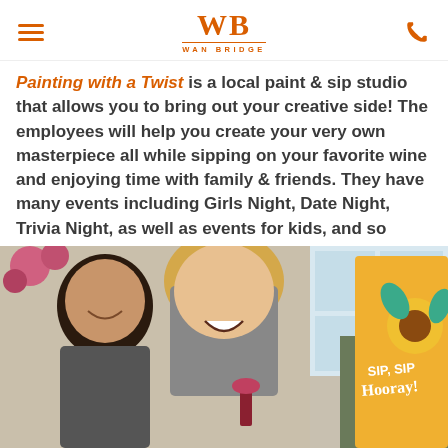WB WAN BRIDGE
Painting with a Twist is a local paint & sip studio that allows you to bring out your creative side! The employees will help you create your very own masterpiece all while sipping on your favorite wine and enjoying time with family & friends. They have many events including Girls Night, Date Night, Trivia Night, as well as events for kids, and so much more. Only 15-minutes from our Clearwater at Balmoral community, it is the perfect party or date night destination!
[Figure (photo): Three women laughing together at a paint and sip studio, one holding a glass of red wine, with a sunflower painting visible that reads 'Sip, Sip Hooray!']